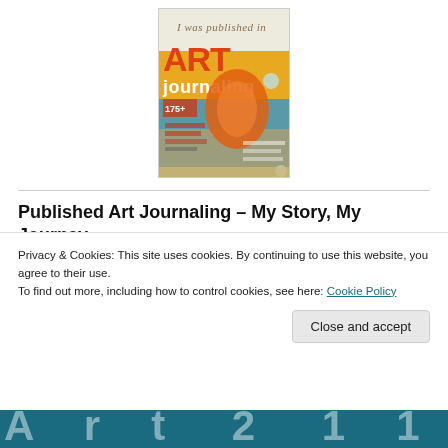[Figure (illustration): Magazine cover of 'Art Journaling' with cursive text 'I was published in' at top, orange/floral art on cover, teal background, '175+' label visible]
Published Art Journaling – My Story, My Journey
[Figure (illustration): Teal banner with cursive white script text partially visible, appearing to be part of a blog post header image]
Privacy & Cookies: This site uses cookies. By continuing to use this website, you agree to their use.
To find out more, including how to control cookies, see here: Cookie Policy
[Figure (illustration): Bottom teal strip with large white block letter text partially visible, continuation of blog post header image]